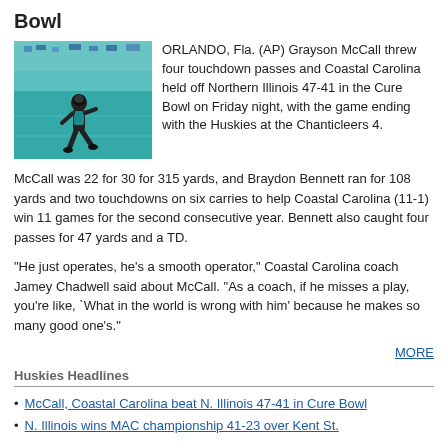Bowl
[Figure (photo): Football player in teal uniform running on the field during the Cure Bowl game]
ORLANDO, Fla. (AP) Grayson McCall threw four touchdown passes and Coastal Carolina held off Northern Illinois 47-41 in the Cure Bowl on Friday night, with the game ending with the Huskies at the Chanticleers 4.
McCall was 22 for 30 for 315 yards, and Braydon Bennett ran for 108 yards and two touchdowns on six carries to help Coastal Carolina (11-1) win 11 games for the second consecutive year. Bennett also caught four passes for 47 yards and a TD.
"He just operates, he's a smooth operator," Coastal Carolina coach Jamey Chadwell said about McCall. "As a coach, if he misses a play, you're like, `What in the world is wrong with him' because he makes so many good one's."
MORE
Huskies Headlines
McCall, Coastal Carolina beat N. Illinois 47-41 in Cure Bowl
N. Illinois wins MAC championship 41-23 over Kent St.